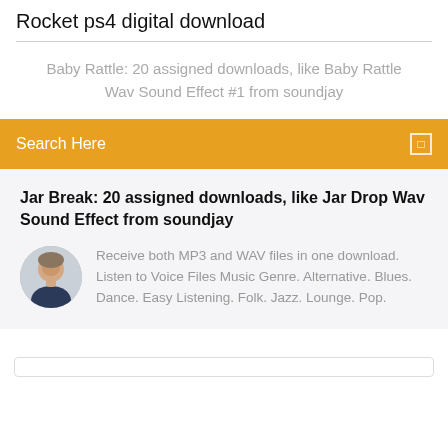Rocket ps4 digital download
Baby Rattle: 20 assigned downloads, like Baby Rattle Wav Sound Effect #1 from soundjay
Search Here
Jar Break: 20 assigned downloads, like Jar Drop Wav Sound Effect from soundjay
[Figure (photo): Circular avatar photo of a man]
Receive both MP3 and WAV files in one download. Listen to Voice Files Music Genre. Alternative. Blues. Dance. Easy Listening. Folk. Jazz. Lounge. Pop.